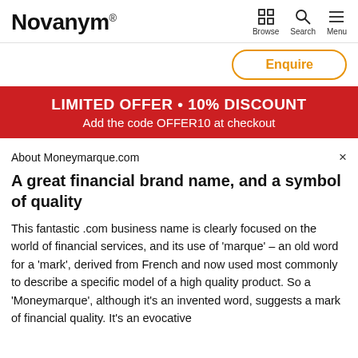Novanym®
Enquire
LIMITED OFFER • 10% DISCOUNT
Add the code OFFER10 at checkout
About Moneymarque.com
A great financial brand name, and a symbol of quality
This fantastic .com business name is clearly focused on the world of financial services, and its use of 'marque' – an old word for a 'mark', derived from French and now used most commonly to describe a specific model of a high quality product. So a 'Moneymarque', although it's an invented word, suggests a mark of financial quality. It's an evocative